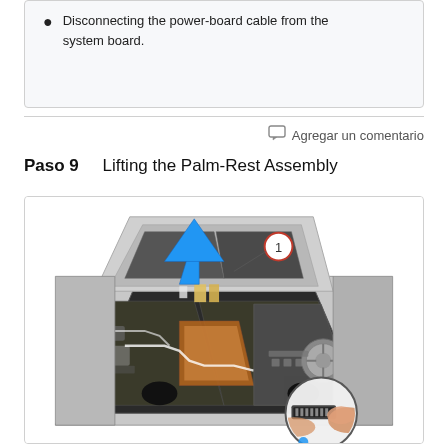Disconnecting the power-board cable from the system board.
Agregar un comentario
Paso 9    Lifting the Palm-Rest Assembly
[Figure (photo): Photo of a laptop disassembly step showing the palm-rest assembly being lifted. A blue arrow points upward inside the laptop chassis. A circled number 1 annotation is visible. An inset circle at the bottom right shows a close-up of a connector being disconnected by hand.]